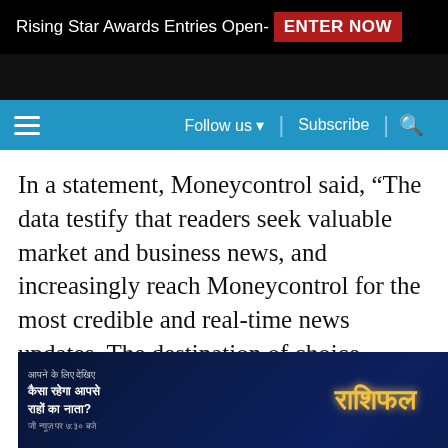Rising Star Awards Entries Open- ENTER NOW
Follow us ▼ | Subscribe | 🔍
In a statement, Moneycontrol said, “The data testify that readers seek valuable market and business news, and increasingly reach Moneycontrol for the most credible and real-time news updates. The destination of choice remains the same, whether it is coverage of market uncertainty, timely newsbreaks, comprehensive analysis, or sharp commentary. Moneycontrol’s clear and compelling … rmats of digital … videos,
[Figure (other): Advertisement overlay showing Indian TV show 'Rashifal' with text in Hindi and two male TV presenters]